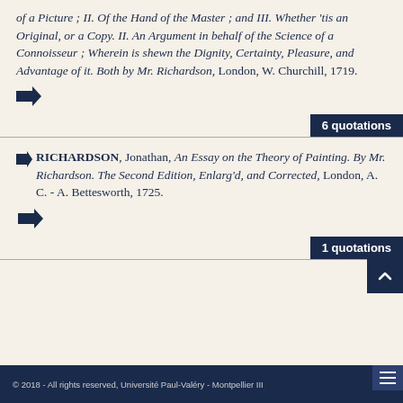of a Picture ; II. Of the Hand of the Master ; and III. Whether 'tis an Original, or a Copy. II. An Argument in behalf of the Science of a Connoisseur ; Wherein is shewn the Dignity, Certainty, Pleasure, and Advantage of it. Both by Mr. Richardson, London, W. Churchill, 1719.
➡) [arrow icon] 6 quotations
RICHARDSON, Jonathan, An Essay on the Theory of Painting. By Mr. Richardson. The Second Edition, Enlarg'd, and Corrected, London, A. C. - A. Bettesworth, 1725.
➡) [arrow icon] 1 quotations
© 2018 - All rights reserved, Université Paul-Valéry - Montpellier III